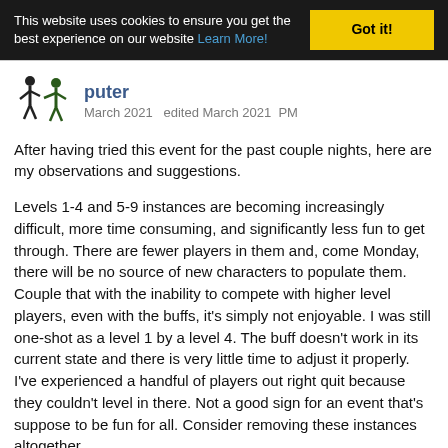This website uses cookies to ensure you get the best experience on our website Learn More! Got it!
puter
March 2021   edited March 2021  PM
After having tried this event for the past couple nights, here are my observations and suggestions.
Levels 1-4 and 5-9 instances are becoming increasingly difficult, more time consuming, and significantly less fun to get through. There are fewer players in them and, come Monday, there will be no source of new characters to populate them. Couple that with the inability to compete with higher level players, even with the buffs, it's simply not enjoyable. I was still one-shot as a level 1 by a level 4. The buff doesn't work in its current state and there is very little time to adjust it properly. I've experienced a handful of players out right quit because they couldn't level in there. Not a good sign for an event that's suppose to be fun for all. Consider removing these instances altogether.
Now, the 10-50 BG...Kill credit is still very difficult to achieve. I've heard through the grapevine that it's a technical issue preventing credit to be